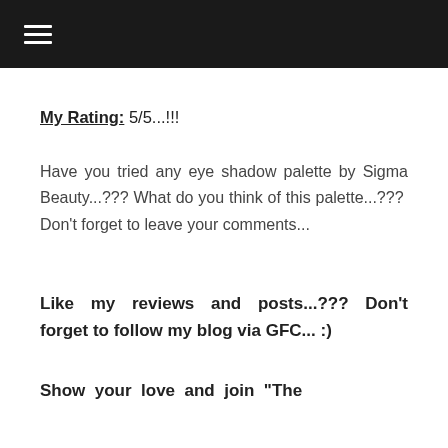☰ (hamburger menu icon)
My Rating: 5/5...!!!
Have you tried any eye shadow palette by Sigma Beauty...??? What do you think of this palette...???  Don't forget to leave your comments...
Like my reviews and posts...???  Don't forget to follow my blog via GFC... :)
Show your love and join "The